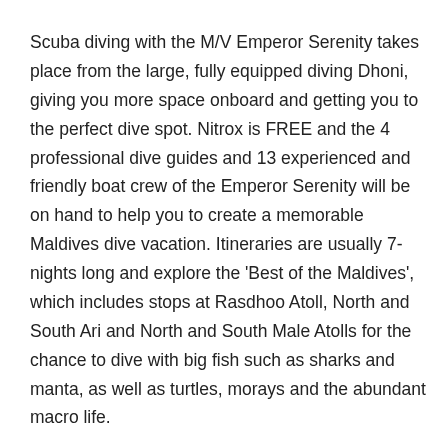Scuba diving with the M/V Emperor Serenity takes place from the large, fully equipped diving Dhoni, giving you more space onboard and getting you to the perfect dive spot. Nitrox is FREE and the 4 professional dive guides and 13 experienced and friendly boat crew of the Emperor Serenity will be on hand to help you to create a memorable Maldives dive vacation. Itineraries are usually 7-nights long and explore the 'Best of the Maldives', which includes stops at Rasdhoo Atoll, North and South Ari and North and South Male Atolls for the chance to dive with big fish such as sharks and manta, as well as turtles, morays and the abundant macro life.
Book your Emperor Serenity liveaboard easily